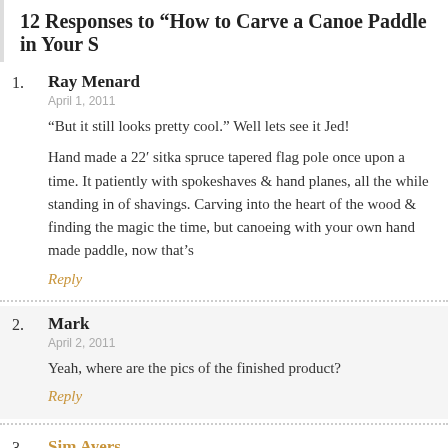12 Responses to “How to Carve a Canoe Paddle in Your S
1. Ray Menard
April 1, 2011
“But it still looks pretty cool.” Well lets see it Jed!

Hand made a 22’ sitka spruce tapered flag pole once upon a time. It patiently with spokeshaves & hand planes, all the while standing in of shavings. Carving into the heart of the wood & finding the magic the time, but canoeing with your own hand made paddle, now that’s

Reply
2. Mark
April 2, 2011
Yeah, where are the pics of the finished product?

Reply
3. Sim Ayers